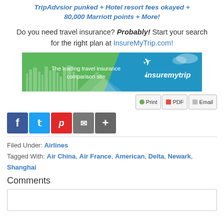TripAdvsior punked + Hotel resort fees okayed + 80,000 Marriott points + More!
Do you need travel insurance? Probably! Start your search for the right plan at InsureMyTrip.com!
[Figure (illustration): InsureMyTrip.com banner advertisement showing cityscape silhouette and airplane on green and blue background with tagline 'The leading travel insurance comparison site' and 'insuremytrip' logo.]
Print PDF Email (share buttons)
Facebook, Twitter, Flipboard, Email, More social sharing buttons
Filed Under: Airlines
Tagged With: Air China, Air France, American, Delta, Newark, Shanghai
Comments